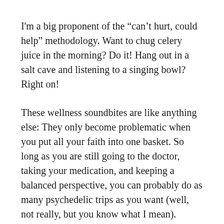I'm a big proponent of the “can’t hurt, could help” methodology. Want to chug celery juice in the morning? Do it! Hang out in a salt cave and listening to a singing bowl? Right on!
These wellness soundbites are like anything else: They only become problematic when you put all your faith into one basket. So long as you are still going to the doctor, taking your medication, and keeping a balanced perspective, you can probably do as many psychedelic trips as you want (well, not really, but you know what I mean).